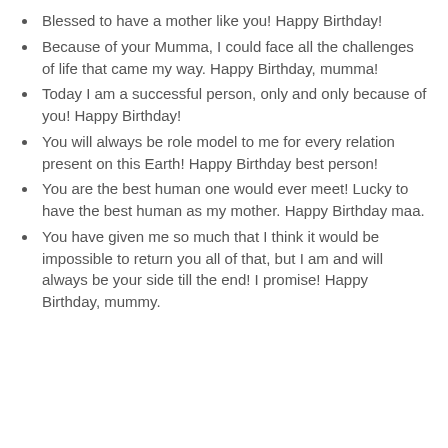Blessed to have a mother like you! Happy Birthday!
Because of your Mumma, I could face all the challenges of life that came my way. Happy Birthday, mumma!
Today I am a successful person, only and only because of you! Happy Birthday!
You will always be role model to me for every relation present on this Earth! Happy Birthday best person!
You are the best human one would ever meet! Lucky to have the best human as my mother. Happy Birthday maa.
You have given me so much that I think it would be impossible to return you all of that, but I am and will always be your side till the end! I promise! Happy Birthday, mummy.